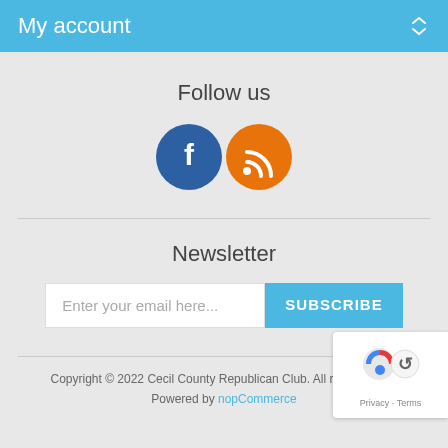My account
Follow us
[Figure (illustration): Facebook circle icon (dark blue) and RSS feed circle icon (orange)]
Newsletter
Enter your email here... SUBSCRIBE
Copyright © 2022 Cecil County Republican Club. All rights reserved. Powered by nopCommerce